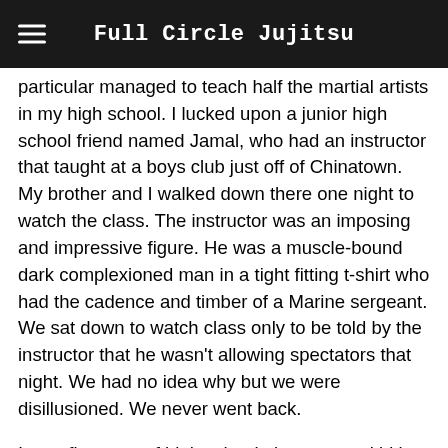Full Circle Jujitsu
particular managed to teach half the martial artists in my high school. I lucked upon a junior high school friend named Jamal, who had an instructor that taught at a boys club just off of Chinatown. My brother and I walked down there one night to watch the class. The instructor was an imposing and impressive figure. He was a muscle-bound dark complexioned man in a tight fitting t-shirt who had the cadence and timber of a Marine sergeant. We sat down to watch class only to be told by the instructor that he wasn't allowing spectators that night. We had no idea why but we were disillusioned. We never went back.
In my first year of high school, there was a kid in the school who was obsessed with anything ninja. He would even come to school dressed in ninja tabi